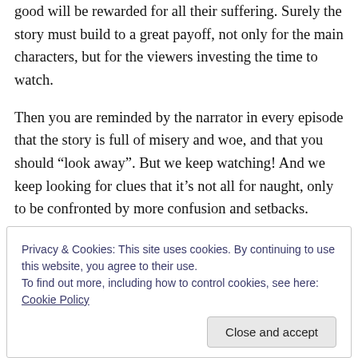good will be rewarded for all their suffering. Surely the story must build to a great payoff, not only for the main characters, but for the viewers investing the time to watch.
Then you are reminded by the narrator in every episode that the story is full of misery and woe, and that you should “look away”. But we keep watching! And we keep looking for clues that it’s not all for naught, only to be confronted by more confusion and setbacks.
Privacy & Cookies: This site uses cookies. By continuing to use this website, you agree to their use.
To find out more, including how to control cookies, see here: Cookie Policy